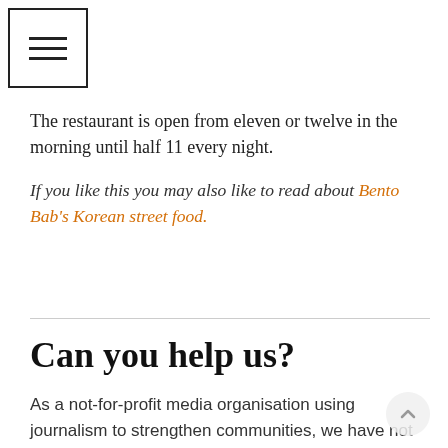[Figure (other): Hamburger menu icon button — three horizontal lines inside a square border]
The restaurant is open from eleven or twelve in the morning until half 11 every night.
If you like this you may also like to read about Bento Bab's Korean street food.
Can you help us?
As a not-for-profit media organisation using journalism to strengthen communities, we have not put our digital content behind a paywall or membership scheme as we think the benefits of an independent, local publication should be available